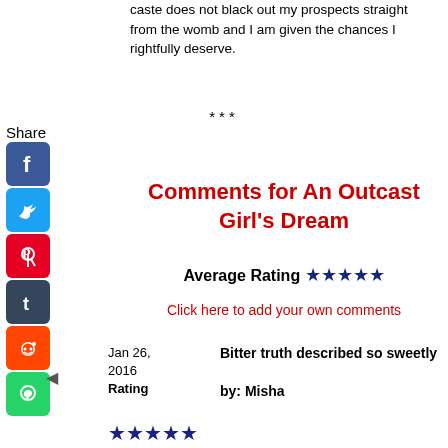caste does not black out my prospects straight from the womb and I am given the chances I rightfully deserve.
***
Share
[Figure (other): Social share icons: Facebook, Twitter, Pinterest, Tumblr, Reddit, WhatsApp]
Comments for An Outcast Girl's Dream
Average Rating ★★★★★
Click here to add your own comments
Jan 26, 2016
Rating
Bitter truth described so sweetly
by: Misha
[Figure (other): Star rating icons (dark blue stars)]